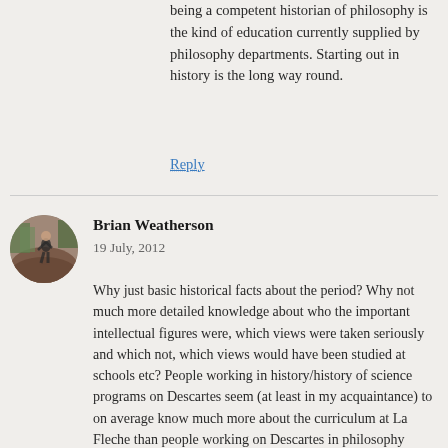being a competent historian of philosophy is the kind of education currently supplied by philosophy departments. Starting out in history is the long way round.
Reply
Brian Weatherson
19 July, 2012
[Figure (photo): Circular avatar photo of Brian Weatherson, showing a person outdoors with trees and reddish-brown ground]
Why just basic historical facts about the period? Why not much more detailed knowledge about who the important intellectual figures were, which views were taken seriously and which not, which views would have been studied at schools etc? People working in history/history of science programs on Descartes seem (at least in my acquaintance) to on average know much more about the curriculum at La Fleche than people working on Descartes in philosophy programs. That’s probably due to a biased sample on my part, but either way, it seems relevant to understanding what Descartes took himself to be arguing against, and requires much more than basic historical facts about the period.